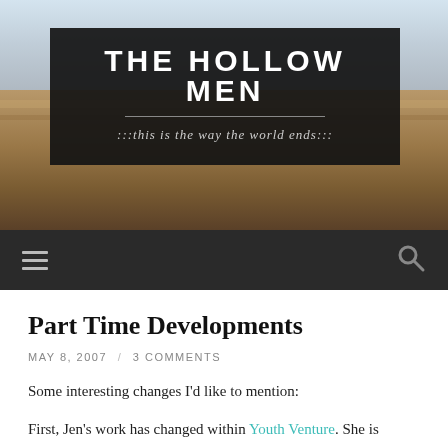[Figure (photo): Landscape photo of a dry open field with golden grasses and a wide horizon under a pale sky, used as the blog header background.]
THE HOLLOW MEN
:::this is the way the world ends:::
Navigation bar with hamburger menu icon and search icon
Part Time Developments
MAY 8, 2007 / 3 COMMENTS
Some interesting changes I’d like to mention:
First, Jen’s work has changed within Youth Venture. She is beginning to manage the global teams in Thailand and